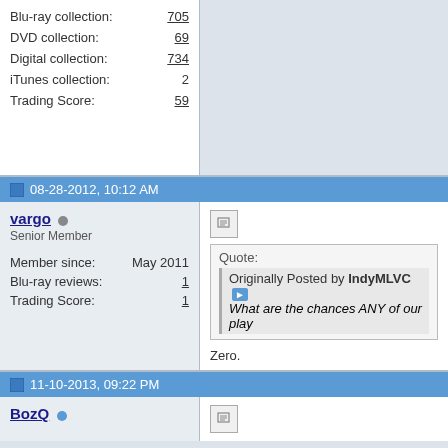| Field | Value |
| --- | --- |
| Blu-ray collection: | 705 |
| DVD collection: | 69 |
| Digital collection: | 734 |
| iTunes collection: | 2 |
| Trading Score: | 59 |
08-28-2012, 10:12 AM
vargo
Senior Member
Member since: May 2011
Blu-ray reviews: 1
Trading Score: 1
Quote:
Originally Posted by IndyMLVC
What are the chances ANY of our play
Zero.
Bluray players and other hardware devices
If you've a reasonably powerful CPU in you
11-10-2013, 09:22 PM
BozQ